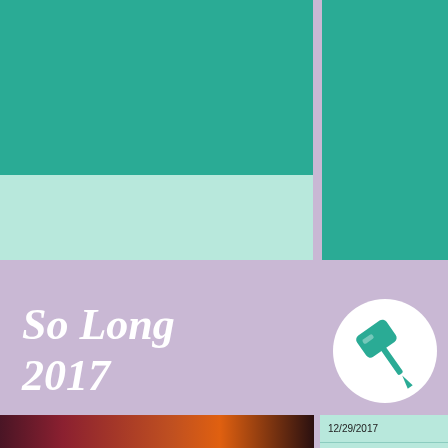0 COMMENTS
LEAVE A COMMENT
So Long 2017
12/29/2017
JENJEN SOMMERFLECK
APPLIERS,
[Figure (photo): Photo of a performer in dark dramatic costume against red and amber lighting background]
[Figure (illustration): Circular white icon with teal pushpin/thumbtack graphic on teal background]